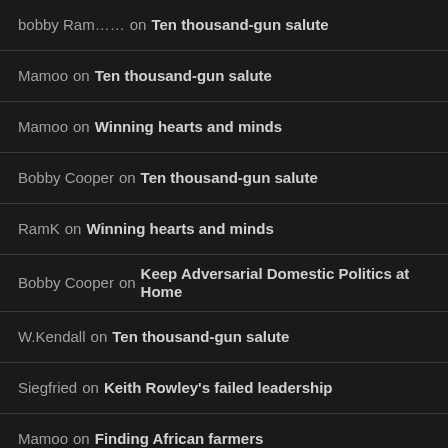bobby Ram…… on Ten thousand-gun salute
Mamoo on Ten thousand-gun salute
Mamoo on Winning hearts and minds
Bobby Cooper on Ten thousand-gun salute
RamK on Winning hearts and minds
Bobby Cooper on Keep Adversarial Domestic Politics at Home
W.Kendall on Ten thousand-gun salute
Siegfried on Keith Rowley's failed leadership
Mamoo on Finding African farmers
Mamoo on The homecoming
Mamoo on Finding African farmers
Mamoo on An unforgiving electorate
Mamoo on An unforgiving electorate